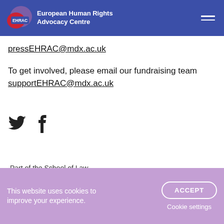EHRAC European Human Rights Advocacy Centre
pressEHRAC@mdx.ac.uk
To get involved, please email our fundraising team
supportEHRAC@mdx.ac.uk
[Figure (illustration): Twitter and Facebook social media icons]
Part of the School of Law
[Figure (logo): Middlesex University London crest and wordmark]
This website uses cookies to improve your experience.
ACCEPT
Cookie settings